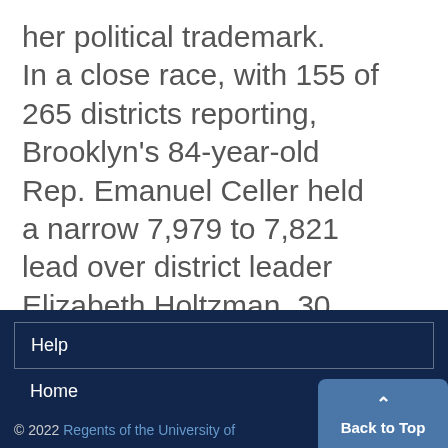her political trademark. In a close race, with 155 of 265 districts reporting, Brooklyn's 84-year-old Rep. Emanuel Celler held a narrow 7,979 to 7,821 lead over district leader Elizabeth Holtzman, 30.
Help
Home
© 2022 Regents of the University of